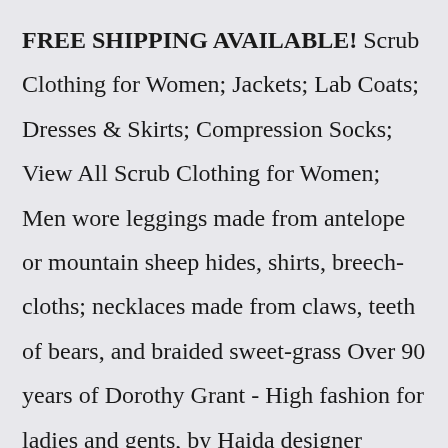FREE SHIPPING AVAILABLE! Scrub Clothing for Women; Jackets; Lab Coats; Dresses & Skirts; Compression Socks; View All Scrub Clothing for Women; Men wore leggings made from antelope or mountain sheep hides, shirts, breech-cloths; necklaces made from claws, teeth of bears, and braided sweet-grass Over 90 years of Dorothy Grant - High fashion for ladies and gents, by Haida designer Dorothy Grant